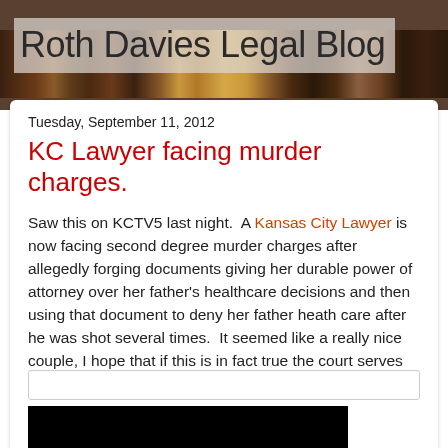Roth Davies Legal Blog
Tuesday, September 11, 2012
KC Lawyer facing murder charges.
Saw this on KCTV5 last night.  A Kansas City Lawyer is now facing second degree murder charges after allegedly forging documents giving her durable power of attorney over her father's healthcare decisions and then using that document to deny her father heath care after he was shot several times.  It seemed like a really nice couple, I hope that if this is in fact true the court serves up some justice for these two.
Here is the article on KCTV5.